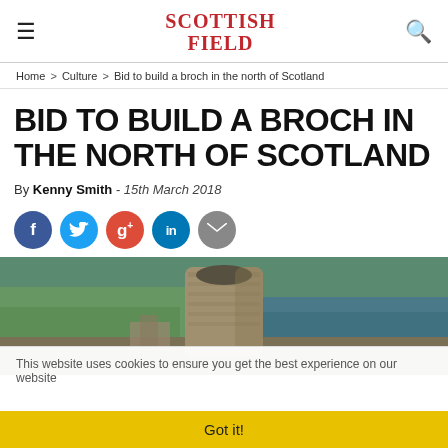≡  SCOTTISH FIELD  🔍
Home > Culture > Bid to build a broch in the north of Scotland
BID TO BUILD A BROCH IN THE NORTH OF SCOTLAND
By Kenny Smith - 15th March 2018
[Figure (infographic): Social sharing icons: Facebook (blue circle), Twitter (light blue circle), Google+ (red circle), LinkedIn (dark blue circle), Email (grey circle)]
[Figure (photo): Aerial photograph of an ancient stone broch tower in the north of Scotland, with green fields and coastline/sea visible in the background]
This website uses cookies to ensure you get the best experience on our website
Got it!